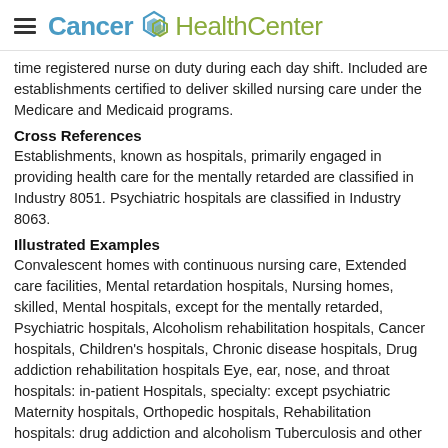Cancer HealthCenter
time registered nurse on duty during each day shift. Included are establishments certified to deliver skilled nursing care under the Medicare and Medicaid programs.
Cross References
Establishments, known as hospitals, primarily engaged in providing health care for the mentally retarded are classified in Industry 8051. Psychiatric hospitals are classified in Industry 8063.
Illustrated Examples
Convalescent homes with continuous nursing care, Extended care facilities, Mental retardation hospitals, Nursing homes, skilled, Mental hospitals, except for the mentally retarded, Psychiatric hospitals, Alcoholism rehabilitation hospitals, Cancer hospitals, Children's hospitals, Chronic disease hospitals, Drug addiction rehabilitation hospitals Eye, ear, nose, and throat hospitals: in-patient Hospitals, specialty: except psychiatric Maternity hospitals, Orthopedic hospitals, Rehabilitation hospitals: drug addiction and alcoholism Tuberculosis and other respiratory illness hospitals
View Nursing and Personal Care